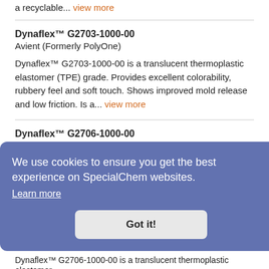a recyclable... view more
Dynaflex™ G2703-1000-00
Avient (Formerly PolyOne)
Dynaflex™ G2703-1000-00 is a translucent thermoplastic elastomer (TPE) grade. Provides excellent colorability, rubbery feel and soft touch. Shows improved mold release and low friction. Is a... view more
Dynaflex™ G2706-1000-00
Avient (Formerly PolyOne)
We use cookies to ensure you get the best experience on SpecialChem websites. Learn more
Got it!